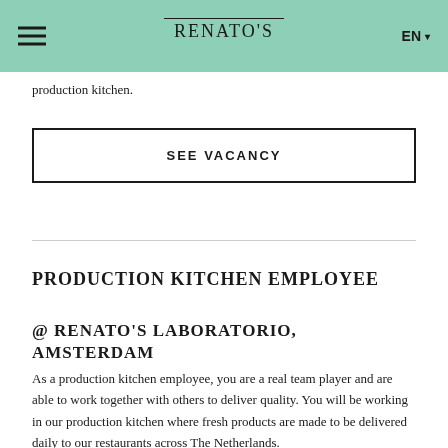RENATO'S
production kitchen.
SEE VACANCY
PRODUCTION KITCHEN EMPLOYEE
@ RENATO'S LABORATORIO, AMSTERDAM
As a production kitchen employee, you are a real team player and are able to work together with others to deliver quality. You will be working in our production kitchen where fresh products are made to be delivered daily to our restaurants across The Netherlands.